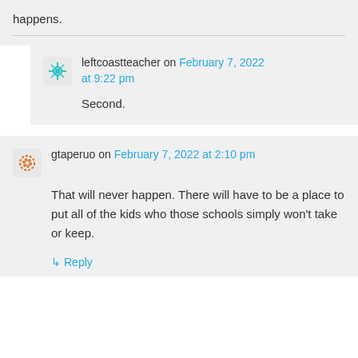happens.
leftcoastteacher on February 7, 2022 at 9:22 pm
Second.
gtaperuo on February 7, 2022 at 2:10 pm
That will never happen. There will have to be a place to put all of the kids who those schools simply won't take or keep.
Reply